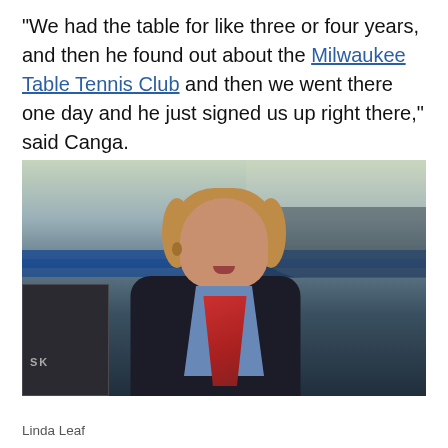"We had the table for like three or four years, and then he found out about the Milwaukee Table Tennis Club and then we went there one day and he just signed us up right there," said Canga.
[Figure (photo): A woman with curly reddish-blonde hair wearing a dark blazer over a blue shirt with a red scarf, speaking or being interviewed. Behind her is a large indoor sports venue with ping pong/table tennis tables and a crowd of spectators. Equipment cases are visible on the left side.]
Linda Leaf